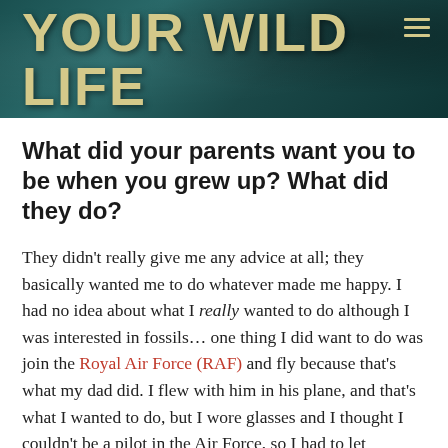Your Wild Life
What did your parents want you to be when you grew up? What did they do?
They didn't really give me any advice at all; they basically wanted me to do whatever made me happy. I had no idea about what I really wanted to do although I was interested in fossils… one thing I did want to do was join the Royal Air Force (RAF) and fly because that's what my dad did. I flew with him in his plane, and that's what I wanted to do, but I wore glasses and I thought I couldn't be a pilot in the Air Force, so I had to let